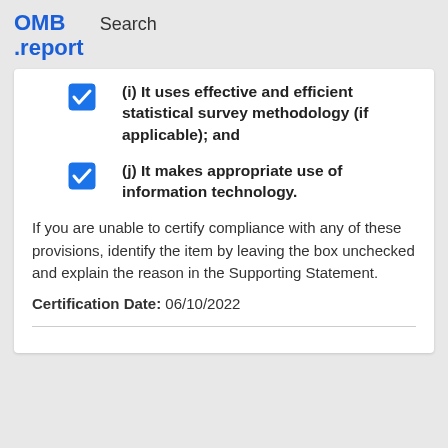OMB .report   Search
(i) It uses effective and efficient statistical survey methodology (if applicable); and
(j) It makes appropriate use of information technology.
If you are unable to certify compliance with any of these provisions, identify the item by leaving the box unchecked and explain the reason in the Supporting Statement.
Certification Date: 06/10/2022